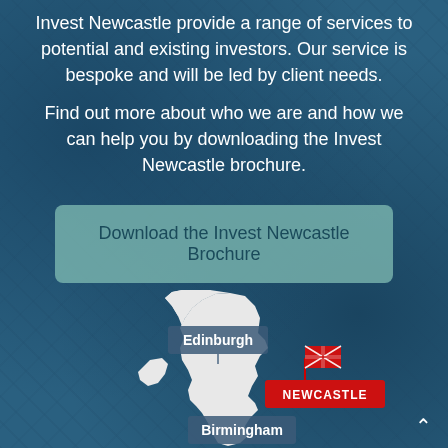Invest Newcastle provide a range of services to potential and existing investors. Our service is bespoke and will be led by client needs.

Find out more about who we are and how we can help you by downloading the Invest Newcastle brochure.
Download the Invest Newcastle Brochure
[Figure (map): Map of Great Britain showing locations of Edinburgh, Newcastle (highlighted with Union Jack flag and red label), and Birmingham. Newcastle is marked prominently with a red banner.]